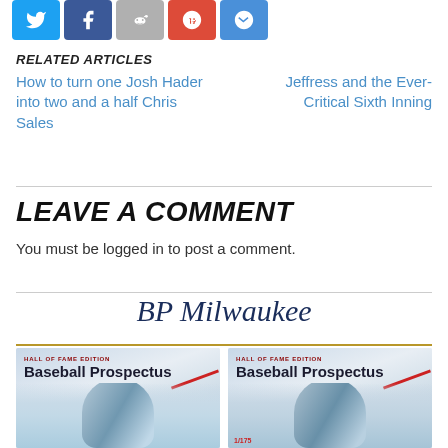[Figure (infographic): Row of 5 social media share buttons: Twitter (blue bird), Facebook (blue f), Reddit (gray alien), Google+ (red g+), Email (blue @)]
RELATED ARTICLES
How to turn one Josh Hader into two and a half Chris Sales
Jeffress and the Ever-Critical Sixth Inning
LEAVE A COMMENT
You must be logged in to post a comment.
BP Milwaukee
[Figure (photo): Two Baseball Prospectus Hall of Fame Edition book covers side by side, each showing a baseball pitcher in action]
HALL OF FAME EDITION Baseball Prospectus
HALL OF FAME EDITION Baseball Prospectus